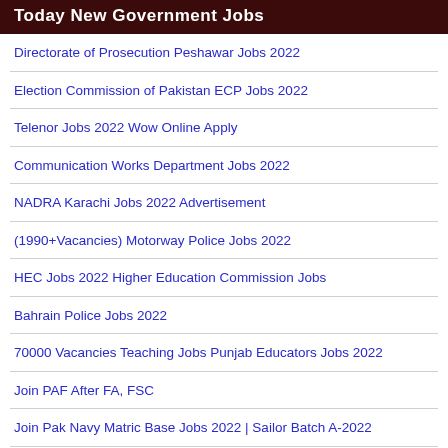Today New Government Jobs
Directorate of Prosecution Peshawar Jobs 2022
Election Commission of Pakistan ECP Jobs 2022
Telenor Jobs 2022 Wow Online Apply
Communication Works Department Jobs 2022
NADRA Karachi Jobs 2022 Advertisement
(1990+Vacancies) Motorway Police Jobs 2022
HEC Jobs 2022 Higher Education Commission Jobs
Bahrain Police Jobs 2022
70000 Vacancies Teaching Jobs Punjab Educators Jobs 2022
Join PAF After FA, FSC
Join Pak Navy Matric Base Jobs 2022 | Sailor Batch A-2022
33000 Educators Jobs 2022 (District Wise List)- Apply Online
PAF Islamabad Jobs 2022 Pakistan Air Force
PKLI Jobs 2022 Pakistan Kidney and Liver Institute